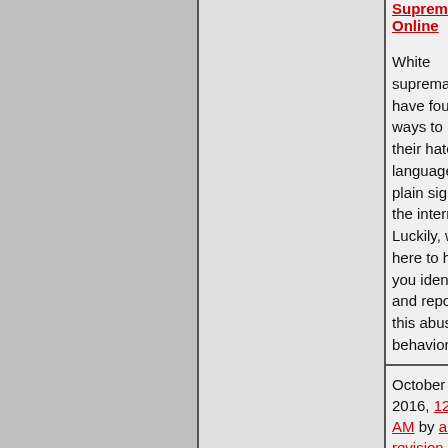White Supremacist Online (link) White supremacists have found ways to hide their hateful language in plain sight on the internet. Luckily, we're here to help you identify and report this abusive behavior.
October 31st, 2016, 12:11 AM by alex revision Views: 1,727 - Comments: 0 Tags: None...
Ask Your Doctor About Antisemitox